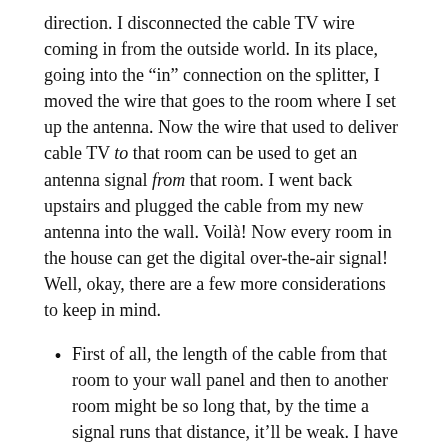direction. I disconnected the cable TV wire coming in from the outside world. In its place, going into the “in” connection on the splitter, I moved the wire that goes to the room where I set up the antenna. Now the wire that used to deliver cable TV to that room can be used to get an antenna signal from that room. I went back upstairs and plugged the cable from my new antenna into the wall. Voilà! Now every room in the house can get the digital over-the-air signal! Well, okay, there are a few more considerations to keep in mind.
First of all, the length of the cable from that room to your wall panel and then to another room might be so long that, by the time a signal runs that distance, it’ll be weak. I have a coaxial signal booster that I got a few years ago from Radio Shack. I keep it in the wall panel and I